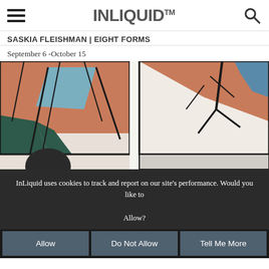INLIQUID™
SASKIA FLEISHMAN | Eight Forms
September 6 -October 15
[Figure (photo): Two abstract artwork panels side by side showing geometric shapes with salmon/terracotta pink, dark green, and blue colors with dark outlines, partially cropped]
InLiquid uses cookies to track and report on our site's performance. Would you like to Allow?
Allow
Do Not Allow
Tell Me More